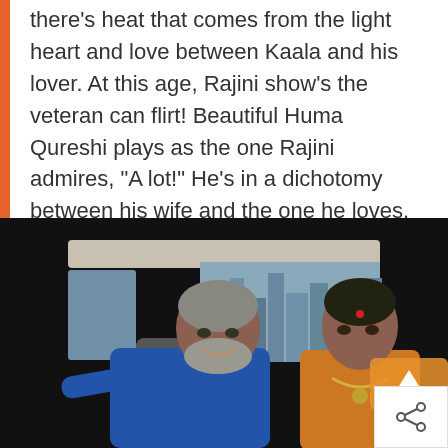there's heat that comes from the light heart and love between Kaala and his lover. At this age, Rajini show's the veteran can flirt! Beautiful Huma Qureshi plays as the one Rajini admires, "A lot!" He's in a dichotomy between his wife and the one he loves.
[Figure (photo): A man in a blue suit jacket with grey beard smiling broadly seated in a vehicle, with a woman in an orange sari with jewelry seated to his right. The interior of a van is visible with seats behind them.]